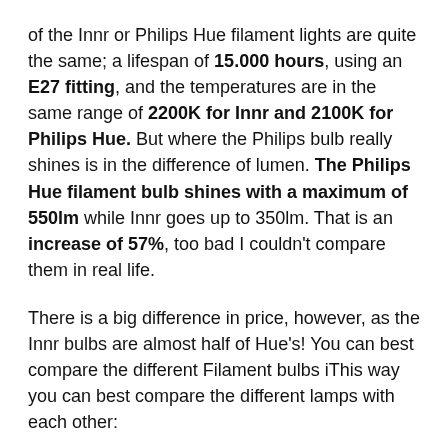of the Innr or Philips Hue filament lights are quite the same; a lifespan of 15.000 hours, using an E27 fitting, and the temperatures are in the same range of 2200K for Innr and 2100K for Philips Hue. But where the Philips bulb really shines is in the difference of lumen. The Philips Hue filament bulb shines with a maximum of 550lm while Innr goes up to 350lm. That is an increase of 57%, too bad I couldn't compare them in real life.
There is a big difference in price, however, as the Innr bulbs are almost half of Hue's! You can best compare the different Filament bulbs iThis way you can best compare the different lamps with each other:
Innr Globe (€ 23,99 pc) vs Hue Globe Large (€ 39,99 pc)